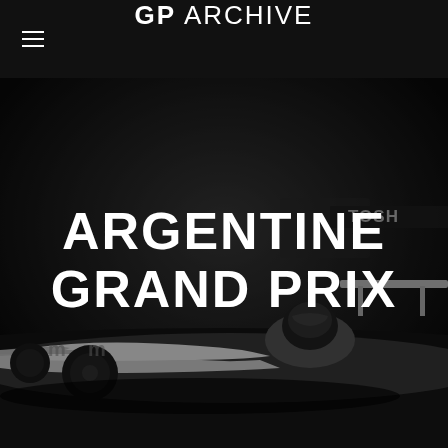GP ARCHIVE
[Figure (photo): Black and white photograph of a Formula 1 racing car with a driver in helmet, showing the front and side of the car with 'TOSHIBA' visible on the rear wing, dark dramatic background]
ARGENTINE GRAND PRIX